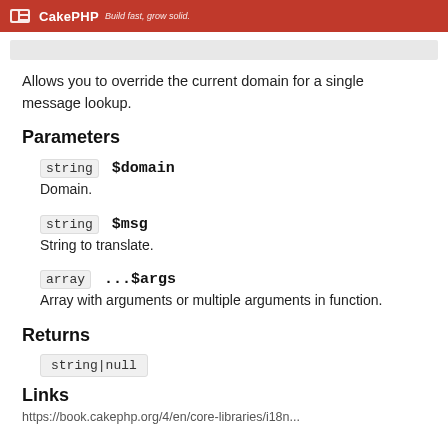CakePHP Build fast, grow solid.
Allows you to override the current domain for a single message lookup.
Parameters
string $domain — Domain.
string $msg — String to translate.
array ...$args — Array with arguments or multiple arguments in function.
Returns
string|null
Links
(url text cut off at bottom)